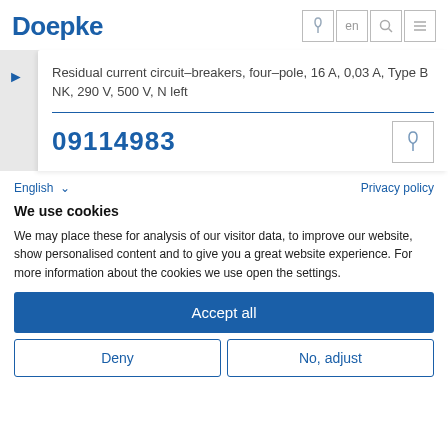Doepke
Residual current circuit-breakers, four-pole, 16 A, 0,03 A, Type B NK, 290 V, 500 V, N left
09114983
English
Privacy policy
We use cookies
We may place these for analysis of our visitor data, to improve our website, show personalised content and to give you a great website experience. For more information about the cookies we use open the settings.
Accept all
Deny
No, adjust